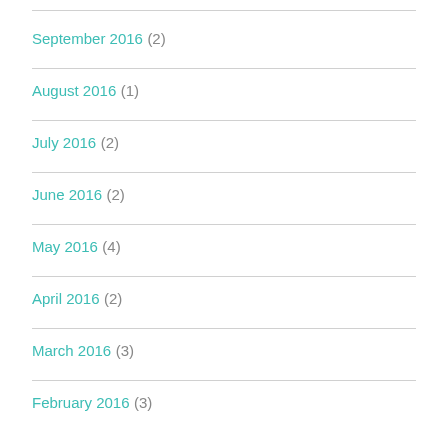September 2016 (2)
August 2016 (1)
July 2016 (2)
June 2016 (2)
May 2016 (4)
April 2016 (2)
March 2016 (3)
February 2016 (3)